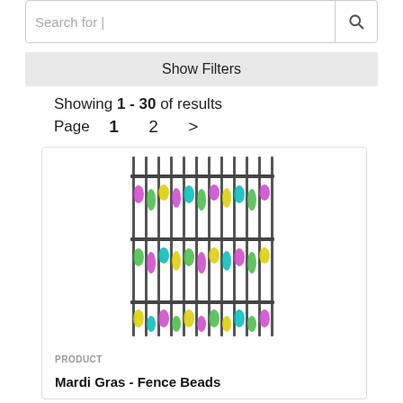Search for |
Show Filters
Showing 1 - 30 of results
Page  1  2  >
[Figure (photo): Product image of Mardi Gras fence beads — colorful strands of Mardi Gras beads (green, yellow, purple, pink) hanging from a fence-like rack structure, arranged in rows.]
PRODUCT
Mardi Gras - Fence Beads